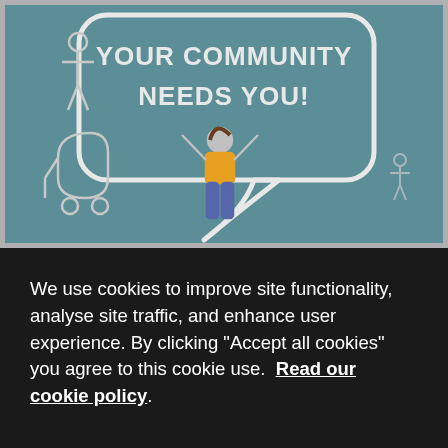[Figure (illustration): Teal/blue-green background illustration with a large speech bubble containing the text 'YOUR COMMUNITY NEEDS YOU!' in white. A person with arms raised wearing a yellow top is visible at the bottom center. Small outline figures including a person and a baby stroller are on the left side. The image has a gray border around it.]
We use cookies to improve site functionality, analyse site traffic, and enhance user experience. By clicking "Accept all cookies" you agree to this cookie use.  Read our cookie policy.